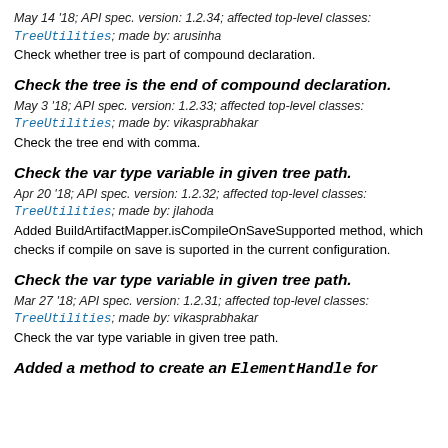May 14 '18; API spec. version: 1.2.34; affected top-level classes: TreeUtilities; made by: arusinha
Check whether tree is part of compound declaration.
Check the tree is the end of compound declaration.
May 3 '18; API spec. version: 1.2.33; affected top-level classes: TreeUtilities; made by: vikasprabhakar
Check the tree end with comma.
Check the var type variable in given tree path.
Apr 20 '18; API spec. version: 1.2.32; affected top-level classes: TreeUtilities; made by: jlahoda
Added BuildArtifactMapper.isCompileOnSaveSupported method, which checks if compile on save is suported in the current configuration.
Check the var type variable in given tree path.
Mar 27 '18; API spec. version: 1.2.31; affected top-level classes: TreeUtilities; made by: vikasprabhakar
Check the var type variable in given tree path.
Added a method to create an ElementHandle for